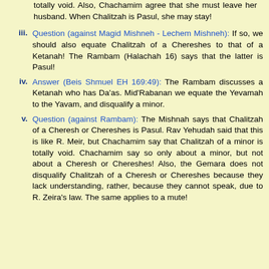totally void. Also, Chachamim agree that she must leave her husband. When Chalitzah is Pasul, she may stay!
iii. Question (against Magid Mishneh - Lechem Mishneh): If so, we should also equate Chalitzah of a Chereshes to that of a Ketanah! The Rambam (Halachah 16) says that the latter is Pasul!
iv. Answer (Beis Shmuel EH 169:49): The Rambam discusses a Ketanah who has Da'as. Mid'Rabanan we equate the Yevamah to the Yavam, and disqualify a minor.
v. Question (against Rambam): The Mishnah says that Chalitzah of a Cheresh or Chereshes is Pasul. Rav Yehudah said that this is like R. Meir, but Chachamim say that Chalitzah of a minor is totally void. Chachamim say so only about a minor, but not about a Cheresh or Chereshes! Also, the Gemara does not disqualify Chalitzah of a Cheresh or Chereshes because they lack understanding, rather, because they cannot speak, due to R. Zeira's law. The same applies to a mute!